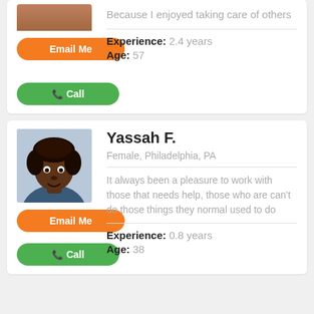Because I enjoyed taking care of others
Experience: 2.4 years
Age: 57
Yassah F.
Female, Philadelphia, PA
It always been a pleasure to work with those that needs help, those who are can't do those things they normal used to do
Experience: 0.8 years
Age: 38